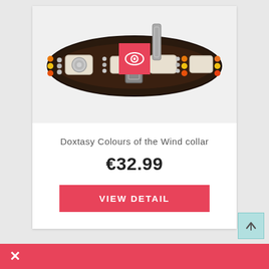[Figure (photo): A decorative dark brown leather dog collar with white bone-shaped panels, colorful orange and yellow beads, silver bead accents, and a metal buckle. An eye icon badge overlay is shown in pink/red.]
Doxtasy Colours of the Wind collar
€32.99
VIEW DETAIL
×